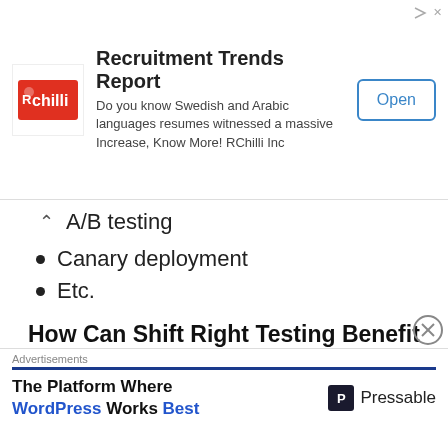[Figure (screenshot): RChilli advertisement banner: Recruitment Trends Report. Logo on left, text 'Do you know Swedish and Arabic languages resumes witnessed a massive Increase, Know More! RChilli Inc', Open button on right.]
A/B testing
Canary deployment
Etc.
How Can Shift Right Testing Benefit Your Development Process?
Applying practices of shift-right testing to a team can have a big impact on how applications are treated after deployment.
Shifting right creates a continuous feedback loop
[Figure (screenshot): Pressable advertisement: The Platform Where WordPress Works Best]